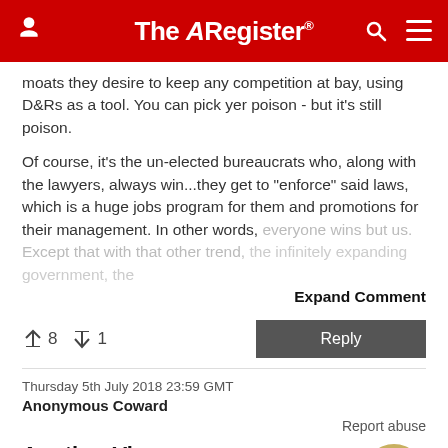The Register
moats they desire to keep any competition at bay, using D&Rs as a tool. You can pick yer poison - but it's still poison.
Of course, it's the un-elected bureaucrats who, along with the lawyers, always win...they get to "enforce" said laws, which is a huge jobs program for them and promotions for their management. In other words, everyone wins but us. Except that with that other trend, the infinitely expanding government, the...
Expand Comment
↑8  ↓1
Reply
Thursday 5th July 2018 23:59 GMT
Anonymous Coward
Report abuse
Another View
The Wall Street Journal has an editorial on the